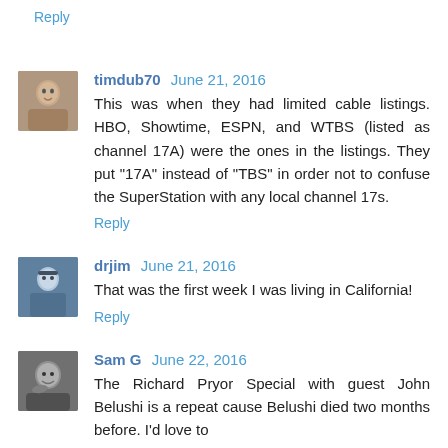Reply
timdub70 June 21, 2016
This was when they had limited cable listings. HBO, Showtime, ESPN, and WTBS (listed as channel 17A) were the ones in the listings. They put "17A" instead of "TBS" in order not to confuse the SuperStation with any local channel 17s.
Reply
drjim June 21, 2016
That was the first week I was living in California!
Reply
Sam G June 22, 2016
The Richard Pryor Special with guest John Belushi is a repeat cause Belushi died two months before. I'd love to